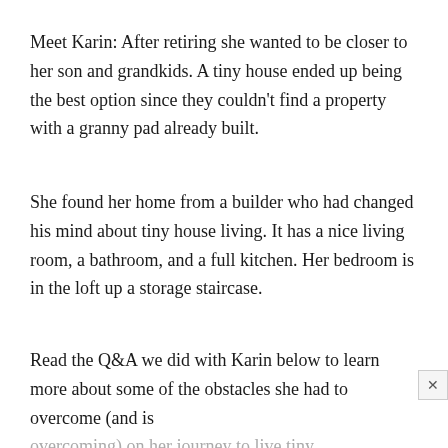Meet Karin: After retiring she wanted to be closer to her son and grandkids. A tiny house ended up being the best option since they couldn't find a property with a granny pad already built.
She found her home from a builder who had changed his mind about tiny house living. It has a nice living room, a bathroom, and a full kitchen. Her bedroom is in the loft up a storage staircase.
Read the Q&A we did with Karin below to learn more about some of the obstacles she had to overcome (and is overcoming) on her journey to live tiny.